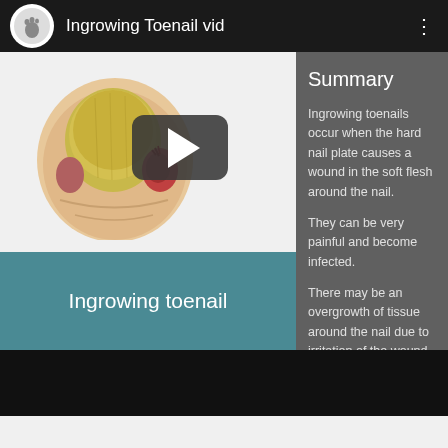Ingrowing Toenail vid
[Figure (screenshot): Screenshot of a medical video player showing an ingrowing toenail with a play button overlay. The toenail appears infected with redness and swelling around it.]
Ingrowing toenail
Summary
Ingrowing toenails occur when the hard nail plate causes a wound in the soft flesh around the nail.
They can be very painful and become infected.
There may be an overgrowth of tissue around the nail due to irritation of the wound.